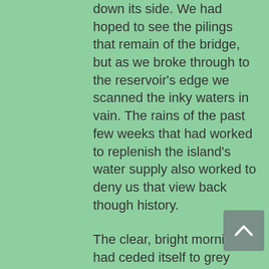down its side. We had hoped to see the pilings that remain of the bridge, but as we broke through to the reservoir's edge we scanned the inky waters in vain. The rains of the past few weeks that had worked to replenish the island's water supply also worked to deny us that view back though history.
The clear, bright morning had ceded itself to grey clouds, and the jungle which had sparkled on our approach was now dull and flat. We turned our backs to the water and retraced our track, up the steps to the temizuya and dragged ourselves through the mess of thorns and ants and vines towards the main hiking trail. Our